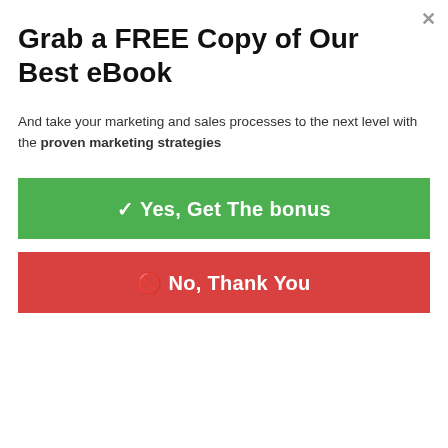Grab a FREE Copy of Our Best eBook
And take your marketing and sales processes to the next level with the proven marketing strategies
✓ Yes, Get The bonus
🚫 No, Thank You
money
⚡ by Convertful
THE FUNNEL:
FrontEnd Offer ($16.95)
Propel Host
Propel Mailer
[Figure (other): Social sharing bar with icons for Facebook, Twitter, Reddit, LinkedIn, Pinterest, MeWe, Mix, WhatsApp, Share]